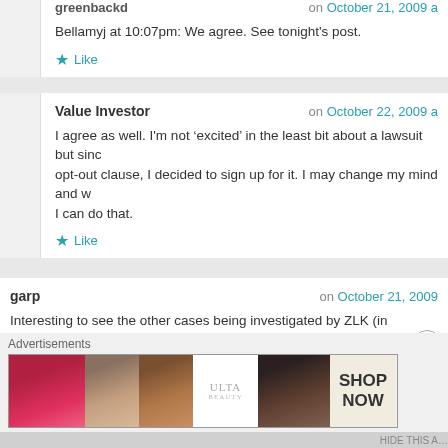greenbackd on October 21, 2009 a…
Bellamyj at 10:07pm: We agree. See tonight's post.
★ Like
Value Investor
on October 22, 2009 a
I agree as well. I'm not 'excited' in the least bit about a lawsuit but since there's an opt-out clause, I decided to sign up for it. I may change my mind and w… I can do that.
★ Like
garp
on October 21, 2009
Interesting to see the other cases being investigated by ZLK (in addition to…
http://www.zlk.com/investigations.html
★ Like
Advertisements
[Figure (illustration): ULTA beauty advertisement banner showing makeup/cosmetics imagery with 'SHOP NOW' call to action]